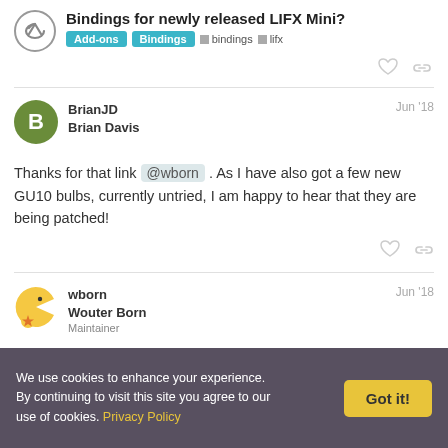Bindings for newly released LIFX Mini? Add-ons Bindings bindings lifx
Thanks for that link @wborn . As I have also got a few new GU10 bulbs, currently untried, I am happy to hear that they are being patched!
BrianJD Brian Davis Jun '18
wborn Wouter Born Maintainer Jun '18
We use cookies to enhance your experience. By continuing to visit this site you agree to our use of cookies. Privacy Policy